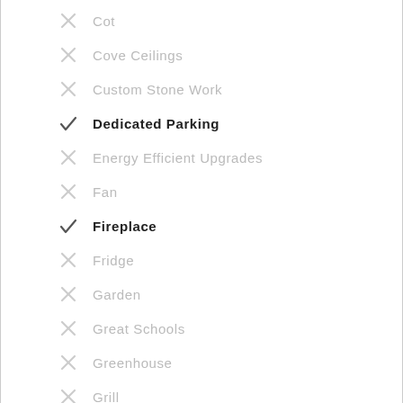Cot
Cove Ceilings
Custom Stone Work
Dedicated Parking
Energy Efficient Upgrades
Fan
Fireplace
Fridge
Garden
Great Schools
Greenhouse
Grill
Heating